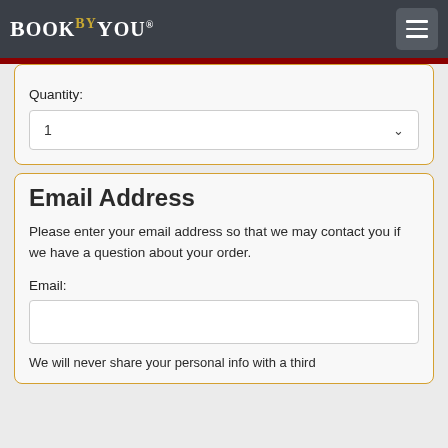BOOK BY YOU
Quantity:
1
Email Address
Please enter your email address so that we may contact you if we have a question about your order.
Email:
We will never share your personal info with a third